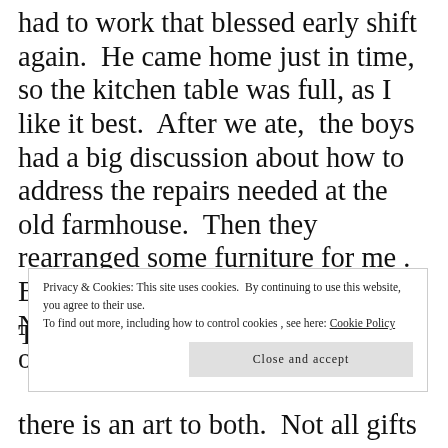had to work that blessed early shift again. He came home just in time, so the kitchen table was full, as I like it best. After we ate, the boys had a big discussion about how to address the repairs needed at the old farmhouse. Then they rearranged some furniture for me. Before I knew it, they had to go. Now, it seemed like Christmas was over.
Though the holiday, itself has
there is an art to both. Not all gifts
Privacy & Cookies: This site uses cookies. By continuing to use this website, you agree to their use.
To find out more, including how to control cookies, see here: Cookie Policy
Close and accept